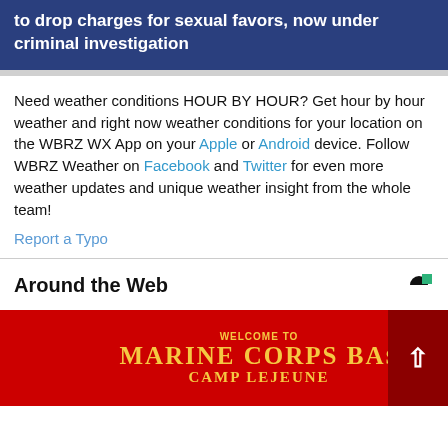Arkansas DA cited after allegedly offered to drop charges for sexual favors, now under criminal investigation
Need weather conditions HOUR BY HOUR? Get hour by hour weather and right now weather conditions for your location on the WBRZ WX App on your Apple or Android device. Follow WBRZ Weather on Facebook and Twitter for even more weather updates and unique weather insight from the whole team!
Report a Typo
Around the Web
[Figure (photo): Marine Corps Base Camp Lejeune welcome sign on red background]